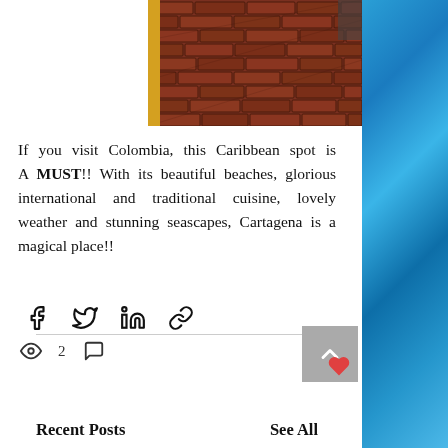[Figure (photo): Photo of red brick paved courtyard/street with yellow wall visible on left, shot from low angle]
If you visit Colombia, this Caribbean spot is A MUST!! With its beautiful beaches, glorious international and traditional cuisine, lovely weather and stunning seascapes, Cartagena is a magical place!!
[Figure (other): Social share icons row: Facebook, Twitter, LinkedIn, link/copy]
[Figure (other): Post stats: 2 views, comment icon, heart/like icon]
Recent Posts
See All